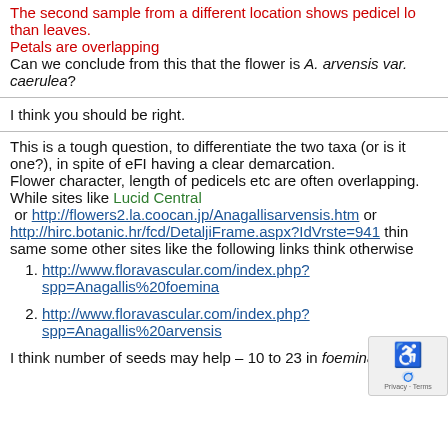The second sample from a different location shows pedicel longer than leaves.
Petals are overlapping
Can we conclude from this that the flower is A. arvensis var. caerulea?
I think you should be right.
This is a tough question, to differentiate the two taxa (or is it one?), in spite of eFI having a clear demarcation.
Flower character, length of pedicels etc are often overlapping.
While sites like Lucid Central or http://flowers2.la.coocan.jp/Anagallisarvensis.htm or http://hirc.botanic.hr/fcd/DetaljiFrame.aspx?IdVrste=941 think same some other sites like the following links think otherwise
http://www.floravascular.com/index.php?spp=Anagallis%20foemina
http://www.floravascular.com/index.php?spp=Anagallis%20arvensis
I think number of seeds may help – 10 to 23 in foemina and 35 in arvensis (or related)